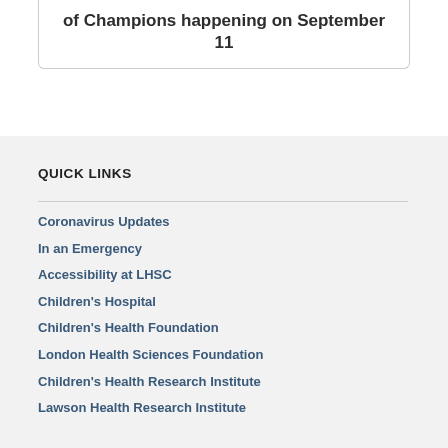of Champions happening on September 11
QUICK LINKS
Coronavirus Updates
In an Emergency
Accessibility at LHSC
Children's Hospital
Children's Health Foundation
London Health Sciences Foundation
Children's Health Research Institute
Lawson Health Research Institute